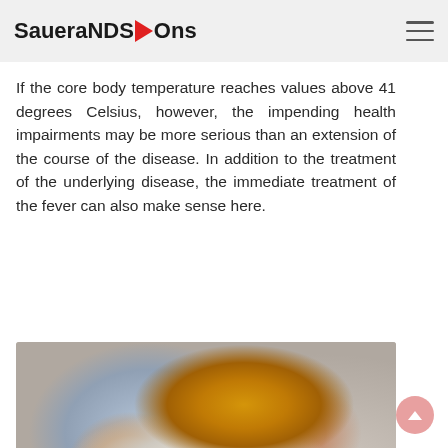SaueraNDS▶Ons
If the core body temperature reaches values above 41 degrees Celsius, however, the impending health impairments may be more serious than an extension of the course of the disease. In addition to the treatment of the underlying disease, the immediate treatment of the fever can also make sense here.
[Figure (photo): Close-up photo of hands wrapping a leg/knee with a white towel and an orange/yellow cloth, suggesting a warm compress or fever treatment]